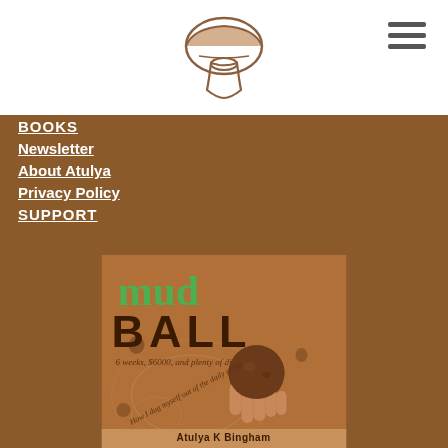[Figure (logo): Website logo — illustrated mushroom/toadstool icon in brown ink]
[Figure (other): Hamburger menu icon (three horizontal lines)]
BOOKS
Newsletter
About Atulya
Privacy Policy
SUPPORT
[Figure (illustration): Book cover for 'mud BALL' by Atulya K Bingham — subtitle '6 weeks, $6000, and plenty of dirt'. Brown earthy background with swirling patterns and holes. Green text 'mud', dark brown all-caps 'BALL'. A hand holding a muddy ball. Diagonal text 'How I dug myself out of the daily grind'. Author name bar at bottom: Atulya K Bingham.]